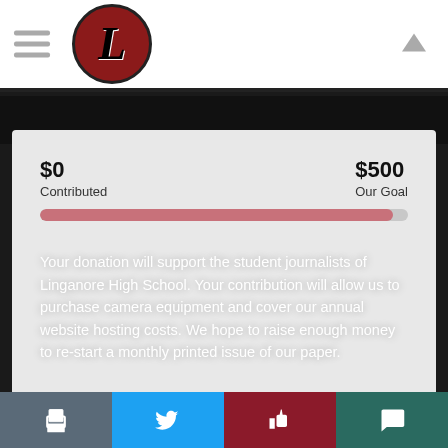[Figure (logo): Linganore High School newspaper logo — circular red badge with ornate black letter L]
$0
Contributed
$500
Our Goal
[Figure (other): Horizontal progress bar showing $0 of $500 raised, bar filled nearly completely in muted red/pink]
Your donation will support the student journalists of Linganore High School. Your contribution will allow us to purchase camera equipment and cover our annual website hosting costs. We hope to raise enough money to re-start a monthly printed issue of our paper.
Donate